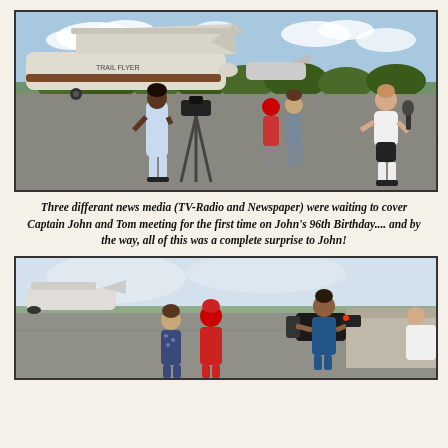[Figure (photo): Photo of an airport tarmac scene with a small white Cessna plane on the left, a woman in a light blue dress and a camera operator on a tripod in the foreground, two people standing in the middle distance, and a man in a white t-shirt and black shorts on the right being interviewed. Trees and clouds visible in the background.]
Three differant news media (TV-Radio and Newspaper) were waiting to cover Captain John and Tom meeting for the first time on John's 96th Birthday.... and by the way, all of this was a complete surprise to John!
[Figure (photo): Photo of an airport tarmac with a jet plane visible on the left side. Three people are visible in the center-left area: one in a patterned shirt, one in a red shirt/hat, and a camera operator with a TV camera on the right filming them. A building/hangar is visible on the right. The sky is overcast/hazy.]